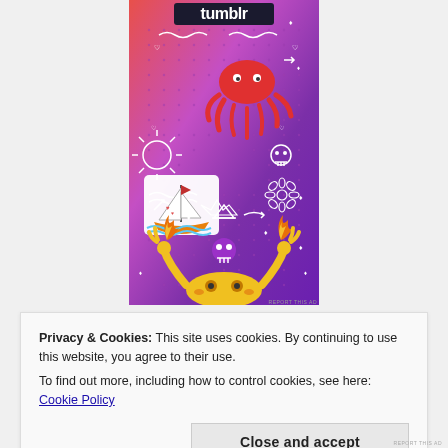[Figure (illustration): Tumblr advertisement image with colorful illustrated stickers on a gradient purple-pink-red background. Shows the Tumblr logo at top, a red squid/octopus, a sailboat, a skull, a flower, flames, and a yellow creature with raised arms at bottom. Small white doodles scattered throughout.]
Privacy & Cookies: This site uses cookies. By continuing to use this website, you agree to their use.
To find out more, including how to control cookies, see here: Cookie Policy
Close and accept